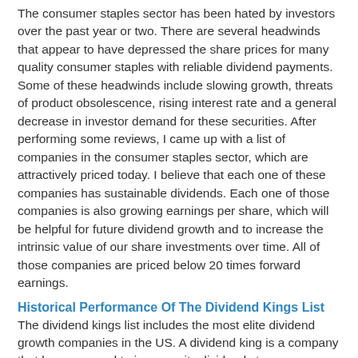The consumer staples sector has been hated by investors over the past year or two. There are several headwinds that appear to have depressed the share prices for many quality consumer staples with reliable dividend payments. Some of these headwinds include slowing growth, threats of product obsolescence, rising interest rate and a general decrease in investor demand for these securities. After performing some reviews, I came up with a list of companies in the consumer staples sector, which are attractively priced today. I believe that each one of these companies has sustainable dividends. Each one of those companies is also growing earnings per share, which will be helpful for future dividend growth and to increase the intrinsic value of our share investments over time. All of those companies are priced below 20 times forward earnings.
Historical Performance Of The Dividend Kings List
The dividend kings list includes the most elite dividend growth companies in the US. A dividend king is a company that has managed to increase its dividends to shareholders for at least 50 years in a row.